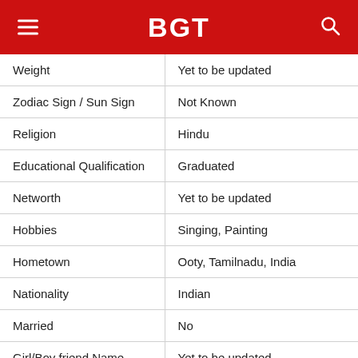BGT
| Field | Value |
| --- | --- |
| Weight | Yet to be updated |
| Zodiac Sign / Sun Sign | Not Known |
| Religion | Hindu |
| Educational Qualification | Graduated |
| Networth | Yet to be updated |
| Hobbies | Singing, Painting |
| Hometown | Ooty, Tamilnadu, India |
| Nationality | Indian |
| Married | No |
| Girl/Boy friend Name | Yet to be updated |
| Current City | Chennai, Tamilnadu, India |
PROMOTED CONTENT